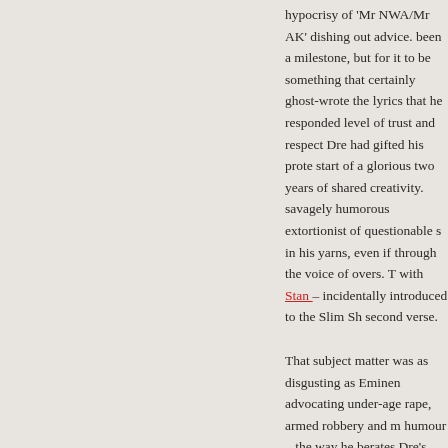hypocrisy of 'Mr NWA/Mr AK' dishing out advice. been a milestone, but for it to be something that certainly ghost-wrote the lyrics that he responded level of trust and respect Dre had gifted his prote start of a glorious two years of shared creativity. savagely humorous extortionist of questionable s in his yarns, even if through the voice of overs. T with Stan – incidentally introduced to the Slim Sh second verse.
That subject matter was as disgusting as Eminen advocating under-age rape, armed robbery and m humour – the way he berates Dre's explanation w his dick' a prime example), but at the time it was Music fans very rarely get to live through super-s Beatles fans on the planet around at their peak m finest three years I lived through every step of the only a few people in my school liked suddenly be